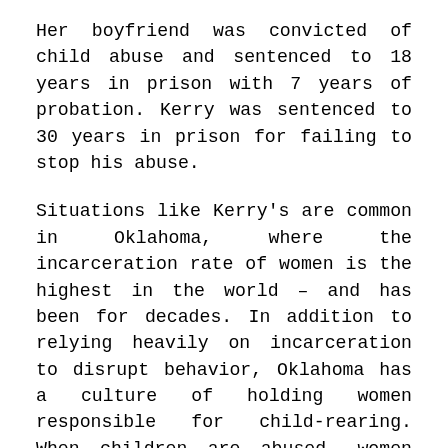Her boyfriend was convicted of child abuse and sentenced to 18 years in prison with 7 years of probation. Kerry was sentenced to 30 years in prison for failing to stop his abuse.
Situations like Kerry's are common in Oklahoma, where the incarceration rate of women is the highest in the world – and has been for decades. In addition to relying heavily on incarceration to disrupt behavior, Oklahoma has a culture of holding women responsible for child-rearing. When children are abused, women are criminalized for surviving. For many women, especially women of color – whether they report or seek care for themselves – the moment they become involved with the criminal legal system, their